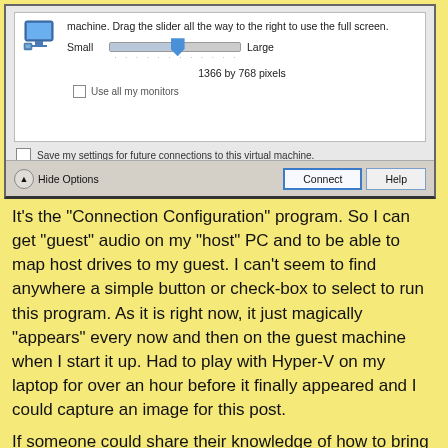[Figure (screenshot): Windows Virtual Machine Connection Configuration dialog showing a screen resolution slider set between Small and Large, displaying '1366 by 768 pixels', a 'Use all my monitors' checkbox, a 'Save my settings for future connections to this virtual machine' checkbox, and buttons: Hide Options, Connect, Help.]
It's the "Connection Configuration" program. So I can get "guest" audio on my "host" PC and to be able to map host drives to my guest. I can't seem to find anywhere a simple button or check-box to select to run this program. As it is right now, it just magically "appears" every now and then on the guest machine when I start it up. Had to play with Hyper-V on my laptop for over an hour before it finally appeared and I could capture an image for this post.
If someone could share their knowledge of how to bring this configurator up when I want it to appear, I'd certainly appreciate it.